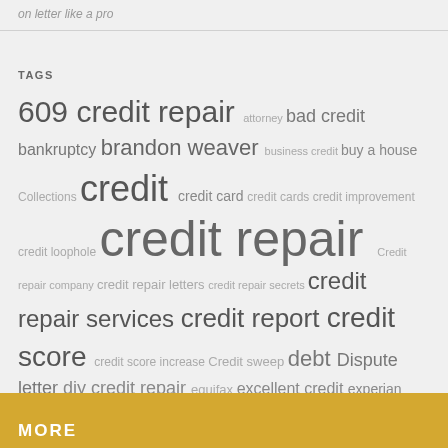on letter like a pro
TAGS
609 credit repair attorney bad credit bankruptcy brandon weaver business credit buy a house Collections credit credit card credit cards credit improvement credit loophole credit repair Credit repair company credit repair letters credit repair secrets credit repair services credit report credit score credit score increase Credit sweep debt Dispute letter diy credit repair equifax excellent credit experian Expert Credit Sweeps fico finance Fix bad credit fix credit good credit how do i fix my credit fast how to remove collections improve credit score lawyer loan money mortgage news personal finance raise credit score transunion
MORE